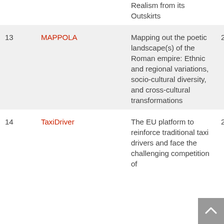| # | Name | Description | Year |
| --- | --- | --- | --- |
|  |  | Realism from its Outskirts |  |
| 13 | MAPPOLA | Mapping out the poetic landscape(s) of the Roman empire: Ethnic and regional variations, socio-cultural diversity, and cross-cultural transformations | 2019 |
| 14 | TaxiDriver | The EU platform to reinforce traditional taxi drivers and face the challenging competition of | 2019 |